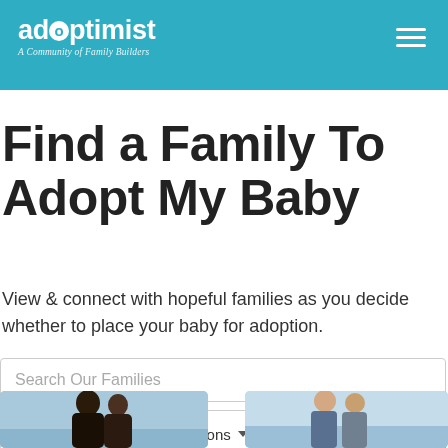adoptimist — A Community of Family Builders
Find a Family To Adopt My Baby
View & connect with hopeful families as you decide whether to place your baby for adoption.
Search Our Families
Advanced Options
GO
[Figure (photo): Photo of a couple (left card), partially cropped at page bottom]
[Figure (photo): Photo of a couple (right card), partially cropped at page bottom]